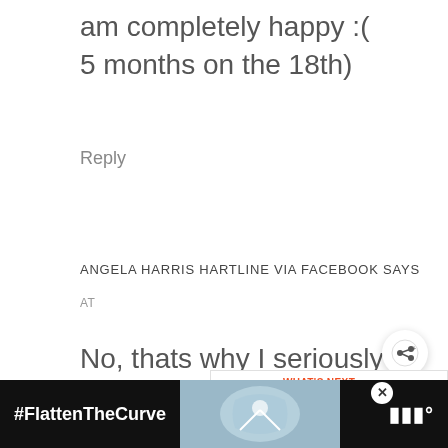am completely happy :( 5 months on the 18th)
Reply
ANGELA HARRIS HARTLINE VIA FACEBOOK SAYS
AT
No, thats why I seriously considering cutting it off
[Figure (screenshot): Share button overlay and What's Next promo for Home Depot Penny Items]
[Figure (screenshot): Bottom advertisement bar with #FlattenTheCurve and washing hands image]